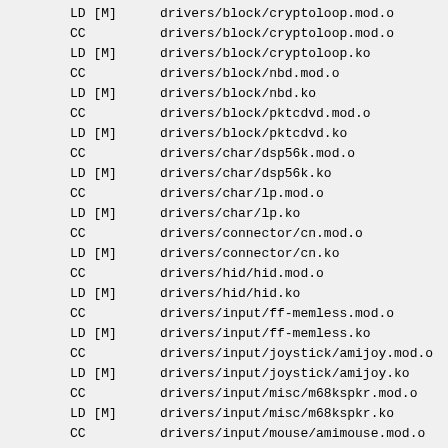LD [M]  drivers/block/cryptoloop.mod.o (partial, top cut off)
CC      drivers/block/cryptoloop.mod.o
LD [M]  drivers/block/cryptoloop.ko
CC      drivers/block/nbd.mod.o
LD [M]  drivers/block/nbd.ko
CC      drivers/block/pktcdvd.mod.o
LD [M]  drivers/block/pktcdvd.ko
CC      drivers/char/dsp56k.mod.o
LD [M]  drivers/char/dsp56k.ko
CC      drivers/char/lp.mod.o
LD [M]  drivers/char/lp.ko
CC      drivers/connector/cn.mod.o
LD [M]  drivers/connector/cn.ko
CC      drivers/hid/hid.mod.o
LD [M]  drivers/hid/hid.ko
CC      drivers/input/ff-memless.mod.o
LD [M]  drivers/input/ff-memless.ko
CC      drivers/input/joystick/amijoy.mod.o
LD [M]  drivers/input/joystick/amijoy.ko
CC      drivers/input/misc/m68kspkr.mod.o
LD [M]  drivers/input/misc/m68kspkr.ko
CC      drivers/input/mouse/amimouse.mod.o
LD [M]  drivers/input/mouse/amimouse.ko
CC      drivers/input/mouse/atarimouse.mod.o
LD [M]  drivers/input/mouse/atarimouse.ko
CC      drivers/input/mouse/psmouse.mod.o
LD [M]  drivers/input/mouse/psmouse.ko
CC      drivers/input/mouse/sermouse.mod.o